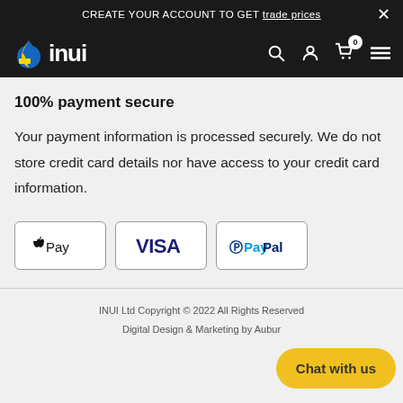CREATE YOUR ACCOUNT TO GET trade prices
[Figure (logo): INUI logo with droplet icon and navigation icons (search, user, cart with 0 badge, hamburger menu) on black navbar]
100% payment secure
Your payment information is processed securely. We do not store credit card details nor have access to your credit card information.
[Figure (other): Payment method logos: Apple Pay, VISA, PayPal in bordered white boxes]
INUI Ltd Copyright © 2022 All Rights Reserved
Digital Design & Marketing by Aubur
Chat with us